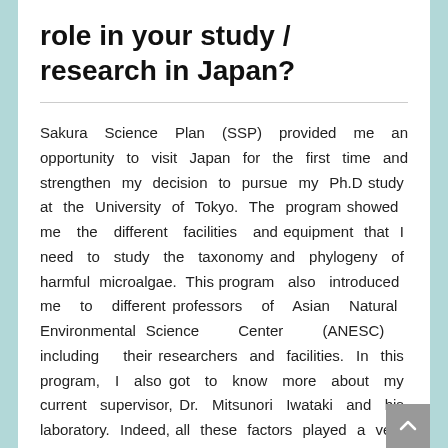role in your study / research in Japan?
Sakura Science Plan (SSP) provided me an opportunity to visit Japan for the first time and strengthen my decision to pursue my Ph.D study at the University of Tokyo. The program showed me the different facilities and equipment that I need to study the taxonomy and phylogeny of harmful microalgae. This program also introduced me to different professors of Asian Natural Environmental Science Center (ANESC) including their researchers and facilities. In this program, I also got to know more about my current supervisor, Dr. Mitsunori Iwataki and his laboratory. Indeed, all these factors played a very important role for